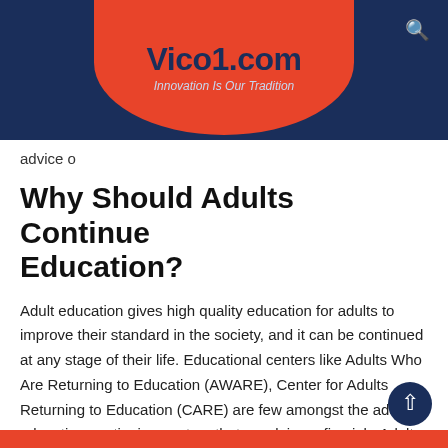Vico1.com — Innovation Is Our Tradition
advice o…
Why Should Adults Continue Education?
Adult education gives high quality education for adults to improve their standard in the society, and it can be continued at any stage of their life. Educational centers like Adults Who Are Returning to Education (AWARE), Center for Adults Returning to Education (CARE) are few amongst the adult education continuing centers that are doing a fine job. Adults who return to education would have had different backgrounds that led to their interruption from continuing education.